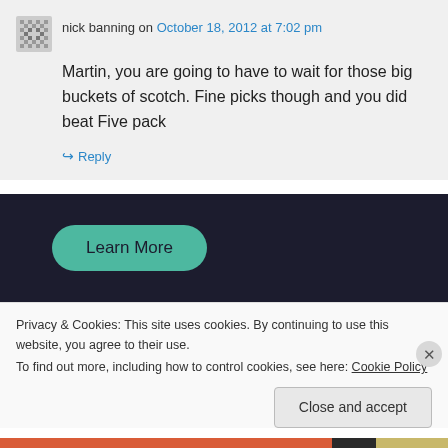nick banning on October 18, 2012 at 7:02 pm
Martin, you are going to have to wait for those big buckets of scotch. Fine picks though and you did beat Five pack
↪ Reply
[Figure (other): Dark background advertisement banner with a teal 'Learn More' button]
Privacy & Cookies: This site uses cookies. By continuing to use this website, you agree to their use.
To find out more, including how to control cookies, see here: Cookie Policy
Close and accept